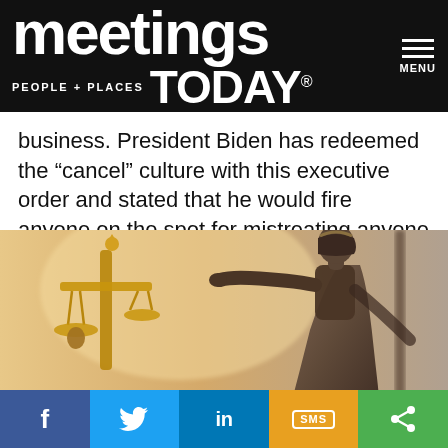meetings TODAY® PEOPLE + PLACES MENU
business. President Biden has redeemed the “cancel” culture with this executive order and stated that he would fire anyone on the spot for mistreating anyone else.
[Figure (photo): Close-up photograph of the Lady Justice statue holding scales, with a blurred background. Bronze-colored statue showing the scales of justice prominently in the foreground.]
Social sharing bar: Facebook, Twitter, LinkedIn, SMS, Share